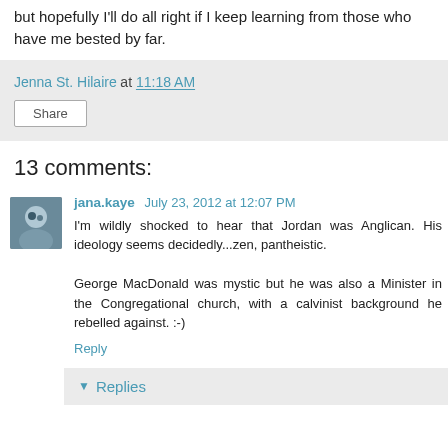but hopefully I'll do all right if I keep learning from those who have me bested by far.
Jenna St. Hilaire at 11:18 AM
Share
13 comments:
jana.kaye July 23, 2012 at 12:07 PM
I'm wildly shocked to hear that Jordan was Anglican. His ideology seems decidedly...zen, pantheistic.

George MacDonald was mystic but he was also a Minister in the Congregational church, with a calvinist background he rebelled against. :-)
Reply
▼ Replies